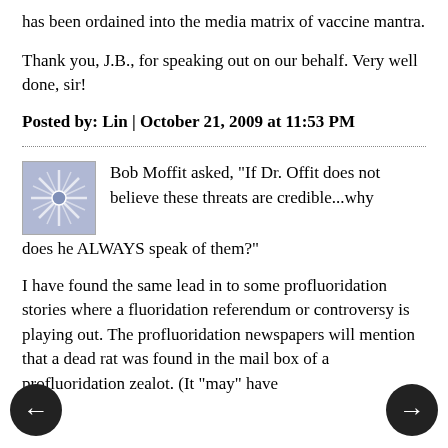has been ordained into the media matrix of vaccine mantra.
Thank you, J.B., for speaking out on our behalf. Very well done, sir!
Posted by: Lin | October 21, 2009 at 11:53 PM
[Figure (illustration): Avatar image with snowflake/starburst pattern in blue-grey tones]
Bob Moffit asked, "If Dr. Offit does not believe these threats are credible...why does he ALWAYS speak of them?"
I have found the same lead in to some profluoridation stories where a fluoridation referendum or controversy is playing out. The profluoridation newspapers will mention that a dead rat was found in the mail box of a profluoridation zealot. (It "may" have